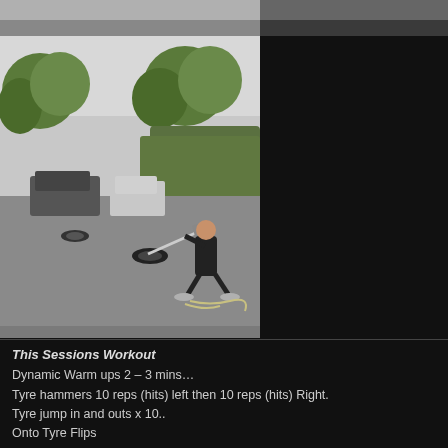[Figure (photo): Partial top of outdoor photo on left side]
[Figure (photo): Partial top of outdoor photo on right side]
[Figure (photo): Man pulling a tyre with a rope and sledgehammer in a car park with trees and a hedge in the background. Cars parked on the left, multiple tyres visible on the ground.]
This Sessions Workout
Dynamic Warm ups 2 – 3 mins…
Tyre hammers 10 reps (hits) left then 10 reps (hits) Right.
Tyre jump in and outs x 10..
Onto Tyre Flips
3 sets